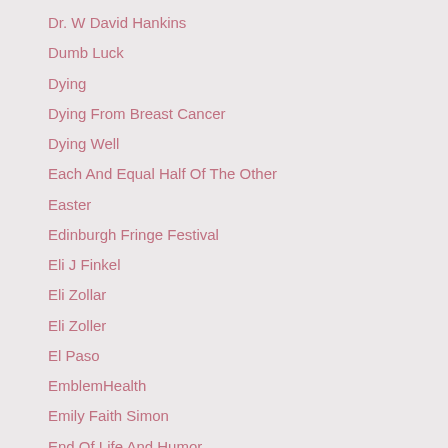Dr. W David Hankins
Dumb Luck
Dying
Dying From Breast Cancer
Dying Well
Each And Equal Half Of The Other
Easter
Edinburgh Fringe Festival
Eli J Finkel
Eli Zollar
Eli Zoller
El Paso
EmblemHealth
Emily Faith Simon
End Of Life And Humor
Eric-cooper
Eric-garner
Erich-segal
Estrogen-receptor-negative